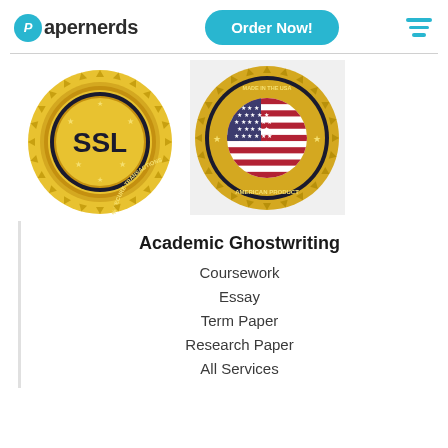[Figure (logo): Papernerds logo with teal circle P and bold text]
[Figure (other): Order Now teal rounded button]
[Figure (other): Teal hamburger menu icon]
[Figure (other): SSL 100% Secure Transactions gold badge seal]
[Figure (other): Made in the USA American Product gold badge with US flag]
Academic Ghostwriting
Coursework
Essay
Term Paper
Research Paper
All Services